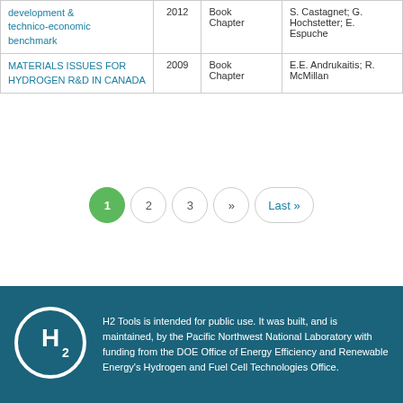| Title | Year | Type | Authors |
| --- | --- | --- | --- |
| development & technico-economic benchmark | 2012 | Book Chapter | S. Castagnet; G. Hochstetter; E. Espuche |
| MATERIALS ISSUES FOR HYDROGEN R&D IN CANADA | 2009 | Book Chapter | E.E. Andrukaitis; R. McMillan |
Pagination: 1 (current), 2, 3, >>, Last »
H2 Tools is intended for public use. It was built, and is maintained, by the Pacific Northwest National Laboratory with funding from the DOE Office of Energy Efficiency and Renewable Energy's Hydrogen and Fuel Cell Technologies Office.